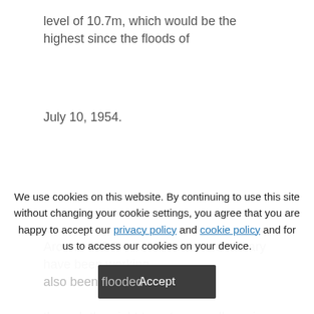level of 10.7m, which would be the highest since the floods of
July 10, 1954.
Around 600 fire servicemen and military have been working
through the night to put up sandbags in the old part of the
city to secure parts of it and pumped out flooded
buildings.
We use cookies on this website. By continuing to use this site without changing your cookie settings, you agree that you are happy to accept our privacy policy and cookie policy and for us to access our cookies on your device.
also been flooded
Accept